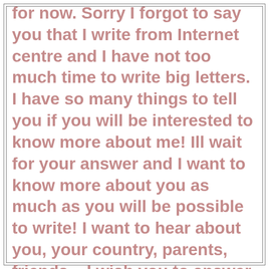for now. Sorry I forgot to say you that I write from Internet centre and I have not too much time to write big letters. I have so many things to tell you if you will be interested to know more about me! Ill wait for your answer and I want to know more about you as much as you will be possible to write! I want to hear about you, your country, parents, friends... I wish you to answer to me very much because I think that I like you! Marina. p.s. I hope that my English is not a problem in continuing of our conversation! By the way what do you